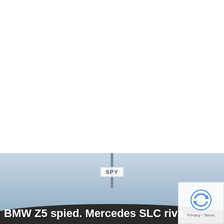[Figure (photo): Spy photo of a BMW Z5 car seen from above in snowy/foggy conditions. A 'SPY' watermark badge is overlaid in the center of the image. The car roof arc is visible at the bottom of the frame. A vertical pole or antenna is visible in the background.]
BMW Z5 spied. Mercedes SLC riva...